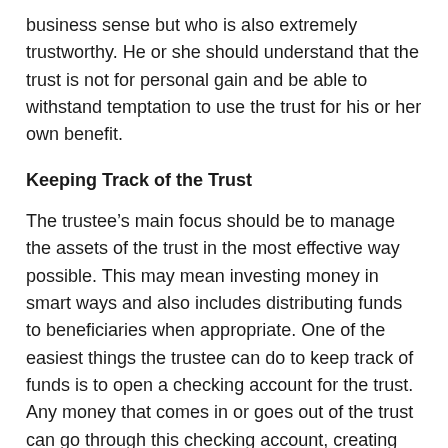business sense but who is also extremely trustworthy. He or she should understand that the trust is not for personal gain and be able to withstand temptation to use the trust for his or her own benefit.
Keeping Track of the Trust
The trustee’s main focus should be to manage the assets of the trust in the most effective way possible. This may mean investing money in smart ways and also includes distributing funds to beneficiaries when appropriate. One of the easiest things the trustee can do to keep track of funds is to open a checking account for the trust. Any money that comes in or goes out of the trust can go through this checking account, creating an easy-to-see method for tracking income and expenses.
As an added safeguard, the trustee should provide an annual